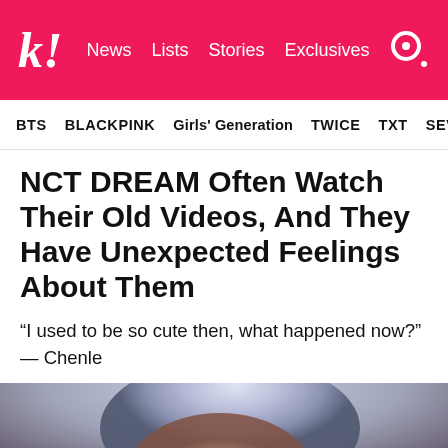k! News Lists Stories Exclusives
BTS  BLACKPINK  Girls' Generation  TWICE  TXT  SEVE
NCT DREAM Often Watch Their Old Videos, And They Have Unexpected Feelings About Them
“I used to be so cute then, what happened now?” — Chenle
[Figure (photo): Close-up photo of a person with light blue/silver hair, eyes closed, hand near face, blurred colorful background]